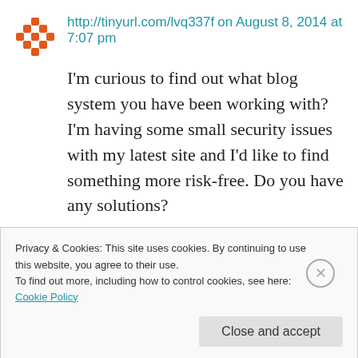http://tinyurl.com/lvq337f on August 8, 2014 at 7:07 pm
I'm curious to find out what blog system you have been working with? I'm having some small security issues with my latest site and I'd like to find something more risk-free. Do you have any solutions?
★ Like
Privacy & Cookies: This site uses cookies. By continuing to use this website, you agree to their use. To find out more, including how to control cookies, see here: Cookie Policy
Close and accept